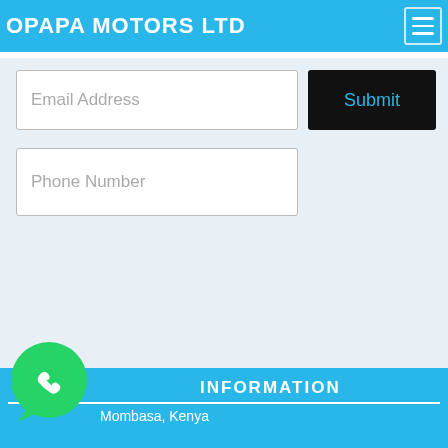OPAPA MOTORS LTD
Email Address
Submit
Phone Number
Best Condition Used Vehicles
Competitive Prices
Flexible Payment Options
Clear Paper Work
INFORMATION
Mombasa, Kenya